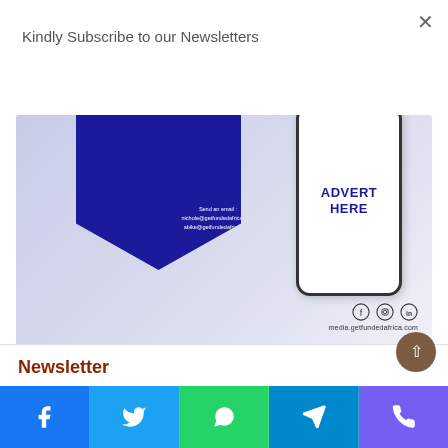×
Kindly Subscribe to our Newsletters
Subscribe
[Figure (screenshot): Advertisement banner for GetFundedAfrica showing a blue pentagon/diamond shape with email contacts nichole@getfundedafrica.com and abike@getfundedafrica.com, a smartphone displaying 'ADVERT HERE' in blue text, social media icons (Facebook, Instagram, LinkedIn), and the URL media.getfundedafrica.com on a light purple/lavender background.]
Newsletter